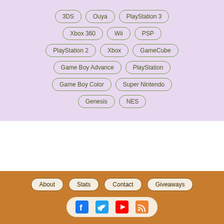3DS
Ouya
PlayStation 3
Xbox 360
Wii
PSP
PlayStation 2
Xbox
GameCube
Game Boy Advance
PlayStation
Game Boy Color
Super Nintendo
Genesis
NES
About Stats Contact Giveaways
© Video Chums 2014-2022. All rights reserved. Latest article published August 19, 2022. Privacy Policy - Video Index - Category Index Rapid Fire Review Index